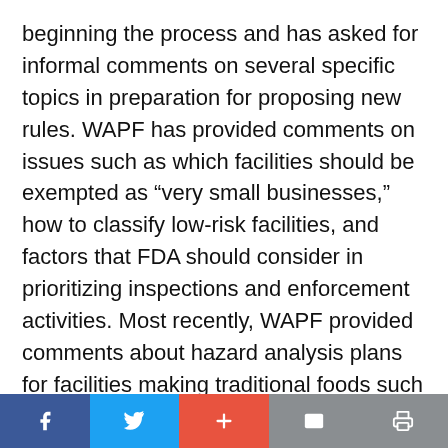beginning the process and has asked for informal comments on several specific topics in preparation for proposing new rules. WAPF has provided comments on issues such as which facilities should be exempted as “very small businesses,” how to classify low-risk facilities, and factors that FDA should consider in prioritizing inspections and enforcement activities. Most recently, WAPF provided comments about hazard analysis plans for facilities making traditional foods such as raw milk cheeses, bone broths, and lacto-fermented vegetables. WAPF’s comments stated:
Facebook | Twitter | Plus | Mail | Print